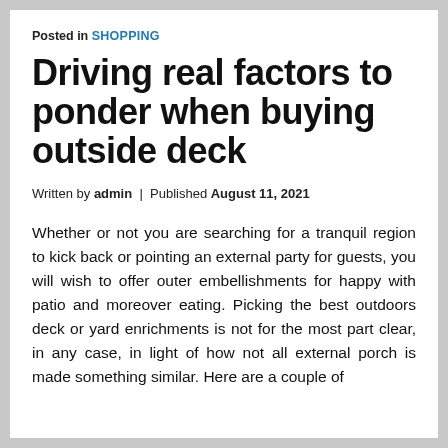Posted in SHOPPING
Driving real factors to ponder when buying outside deck
Written by admin | Published August 11, 2021
Whether or not you are searching for a tranquil region to kick back or pointing an external party for guests, you will wish to offer outer embellishments for happy with patio and moreover eating. Picking the best outdoors deck or yard enrichments is not for the most part clear, in any case, in light of how not all external porch is made something similar. Here are a couple of